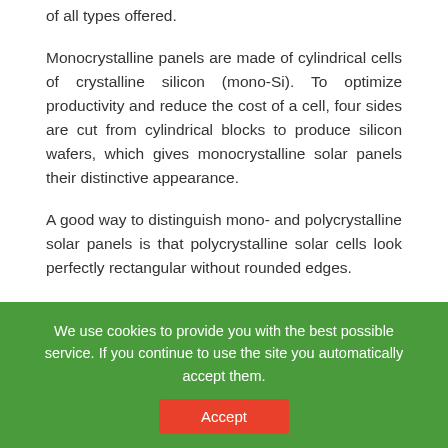of all types offered.
Monocrystalline panels are made of cylindrical cells of crystalline silicon (mono-Si). To optimize productivity and reduce the cost of a cell, four sides are cut from cylindrical blocks to produce silicon wafers, which gives monocrystalline solar panels their distinctive appearance.
A good way to distinguish mono- and polycrystalline solar panels is that polycrystalline solar cells look perfectly rectangular without rounded edges.
[Figure (photo): Partial view of a solar panel showing dark rectangular solar cells with grid lines, top portion visible]
We use cookies to provide you with the best possible service. If you continue to use the site you automatically accept them.
Accept